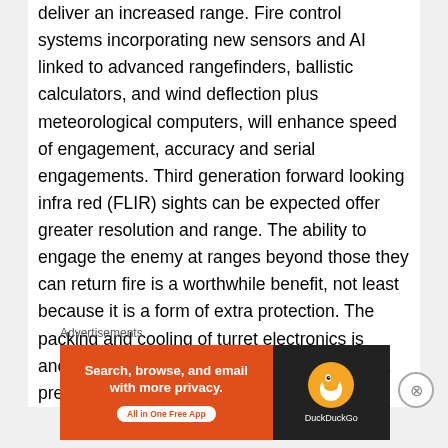deliver an increased range. Fire control systems incorporating new sensors and AI linked to advanced rangefinders, ballistic calculators, and wind deflection plus meteorological computers, will enhance speed of engagement, accuracy and serial engagements. Third generation forward looking infra red (FLIR) sights can be expected offer greater resolution and range. The ability to engage the enemy at ranges beyond those they can return fire is a worthwhile benefit, not least because it is a form of extra protection. The packing and cooling of turret electronics is another consideration given that space is at a premium.
Advertisements
[Figure (other): DuckDuckGo advertisement banner: orange left panel with text 'Search, browse, and email with more privacy. All in One Free App' and dark right panel with DuckDuckGo duck logo and brand name.]